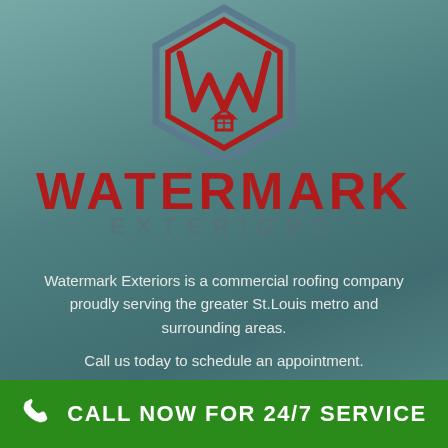[Figure (logo): Watermark Exteriors hexagon logo with stylized W and house icon in red and steel blue]
WATERMARK
EXTERIORS
Watermark Exteriors is a commercial roofing company proudly serving the greater St.Louis metro and surrounding areas.
Call us today to schedule an appointment.
CALL NOW FOR 24/7 SERVICE